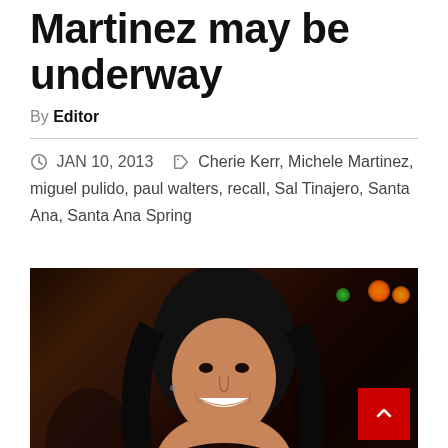Martinez may be underway
By Editor
JAN 10, 2013  Cherie Kerr, Michele Martinez, miguel pulido, paul walters, recall, Sal Tinajero, Santa Ana, Santa Ana Spring
[Figure (photo): Photo of a smiling woman with long dark hair at an indoor event with orange and green bokeh lights in the background.]